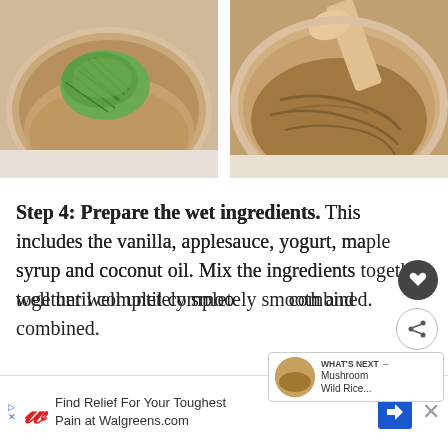[Figure (photo): Bowl with shredded green zucchini on brown flour/dry ingredients mixture, top-down view]
[Figure (photo): Bowl with mixed brown batter being stirred with a spoon, top-down view]
Step 4: Prepare the wet ingredients. This includes the vanilla, applesauce, yogurt, maple syrup and coconut oil. Mix the ingredients together well until completely smooth and combined.
[Figure (infographic): What's Next panel showing Mushroom Wild Rice... with thumbnail image]
[Figure (infographic): Walgreens advertisement: Find Relief For Your Toughest Pain at Walgreens.com]